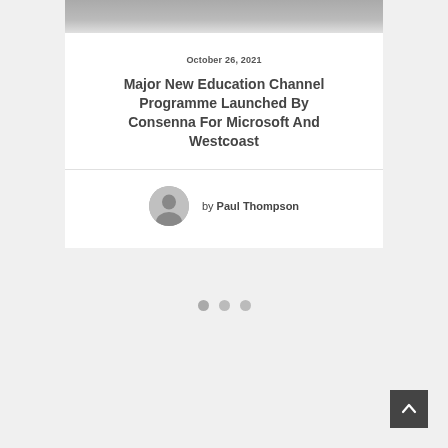[Figure (photo): Cropped top of a photo showing people, likely in formal or professional attire, dark background]
October 26, 2021
Major New Education Channel Programme Launched By Consenna For Microsoft And Westcoast
by Paul Thompson